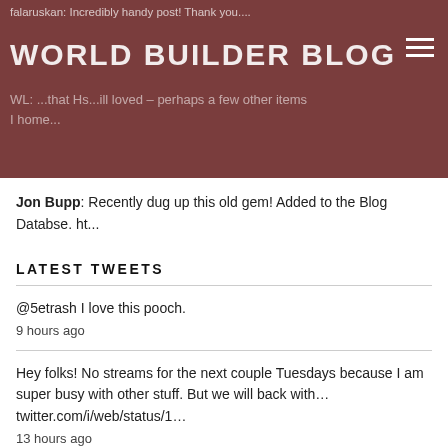WORLD BUILDER BLOG
falaruskan: Incredibly handy post! Thank you....
WL: ...that Hs...ill loved – perhaps a few other items I home...
Jon Bupp: Recently dug up this old gem! Added to the Blog Databse. ht...
LATEST TWEETS
@5etrash I love this pooch.
9 hours ago
Hey folks! No streams for the next couple Tuesdays because I am super busy with other stuff. But we will back with… twitter.com/i/web/status/1…
13 hours ago
Thank you. I don't actually need advice about how to Google things.